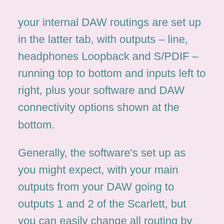your internal DAW routings are set up in the latter tab, with outputs – line, headphones Loopback and S/PDIF – running top to bottom and inputs left to right, plus your software and DAW connectivity options shown at the bottom.
Generally, the software's set up as you might expect, with your main outputs from your DAW going to outputs 1 and 2 of the Scarlett, but you can easily change all routing by producing a Custom Mix, and then utilising the drop-down menus on each output block to change settings. Changes to input routings are just as easy, as you get an overview of all available inputs on the far